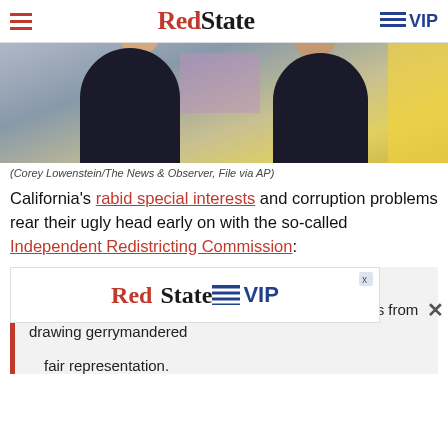RedState | VIP
[Figure (photo): Two men in dark suits viewed from behind, standing in front of a large map or whiteboard with colored regions. Caption: (Corey Lowenstein/The News & Observer, File via AP)]
(Corey Lowenstein/The News & Observer, File via AP)
California's rabid special interests and corruption problems rear their ugly head early on with the so-called Independent Redistricting Commission:
California voters created an independent redistricting commission to stop lawmakers and powerful interests from drawing gerrymandered
[Figure (screenshot): RedState VIP advertisement banner]
fair representation.